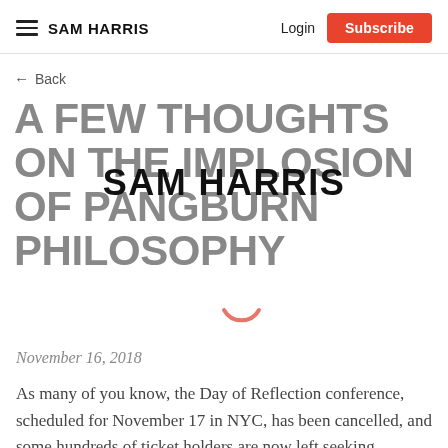SAM HARRIS | Login | Subscribe
← Back
A FEW THOUGHTS ON THE IMPLOSION OF PANGBURN PHILOSOPHY
November 16, 2018
As many of you know, the Day of Reflection conference, scheduled for November 17 in NYC, has been cancelled, and some hundreds of ticket holders are now left seeking refunds.